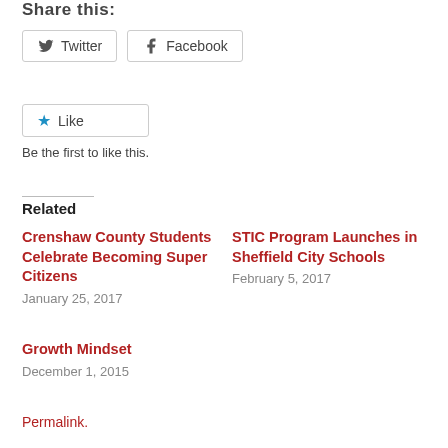Share this:
[Figure (other): Social share buttons: Twitter and Facebook]
[Figure (other): Like button with star icon]
Be the first to like this.
Related
Crenshaw County Students Celebrate Becoming Super Citizens
January 25, 2017
STIC Program Launches in Sheffield City Schools
February 5, 2017
Growth Mindset
December 1, 2015
Permalink.